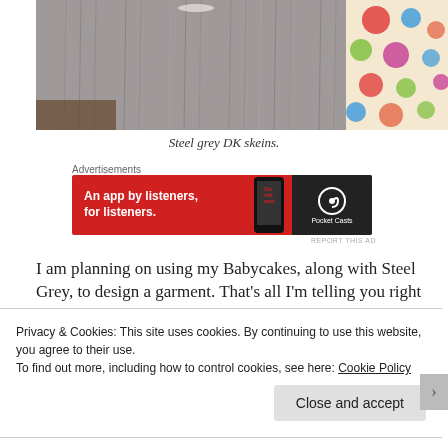[Figure (photo): Bundles of steel grey DK yarn skeins hanging, with a colorful polka-dot fabric visible in the background.]
Steel grey DK skeins.
Advertisements
[Figure (screenshot): Pocket Casts advertisement banner: 'An app by listeners, for listeners.' on a red background with a phone image and Pocket Casts logo.]
REPORT THIS AD
I am planning on using my Babycakes, along with Steel Grey, to design a garment. That's all I'm telling you right
Privacy & Cookies: This site uses cookies. By continuing to use this website, you agree to their use.
To find out more, including how to control cookies, see here: Cookie Policy
Close and accept